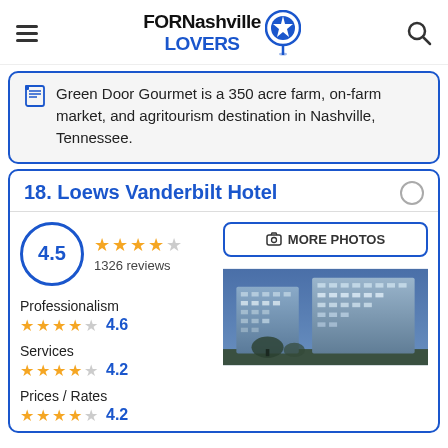FORNashville LOVERS
Green Door Gourmet is a 350 acre farm, on-farm market, and agritourism destination in Nashville, Tennessee.
18. Loews Vanderbilt Hotel
4.5 rating, 1326 reviews
[Figure (photo): Exterior photo of Loews Vanderbilt Hotel building at dusk, modern glass and concrete multi-story building]
Professionalism 4.6 stars
Services 4.2 stars
Prices / Rates 4.2 stars